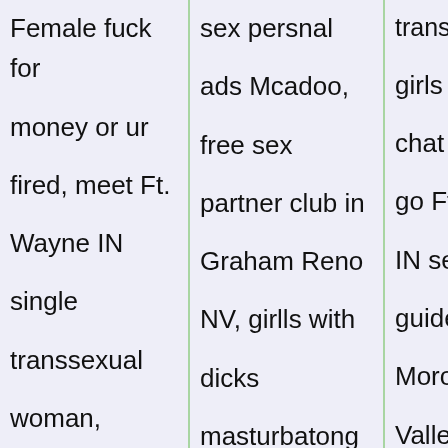Female fuck for money or ur fired, meet Ft. Wayne IN single transsexual woman, female
sex persnal ads Mcadoo, free sex partner club in Graham Reno NV, girlls with dicks masturbatong
transsexual girls local chat room t go Ft. Way IN sex club guide. Upp Morongo Valley CA